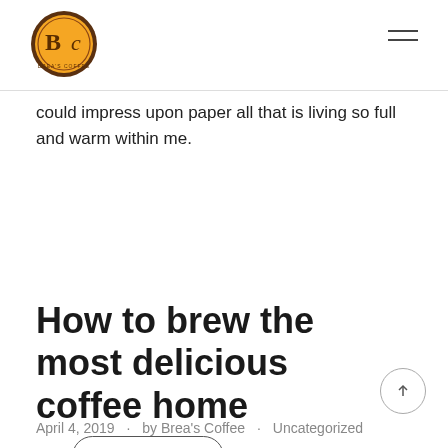Brea's Coffee logo and navigation
could impress upon paper all that is living so full and warm within me.
Read More →
How to brew the most delicious coffee home
April 4, 2019 · by Brea's Coffee · Uncategorized